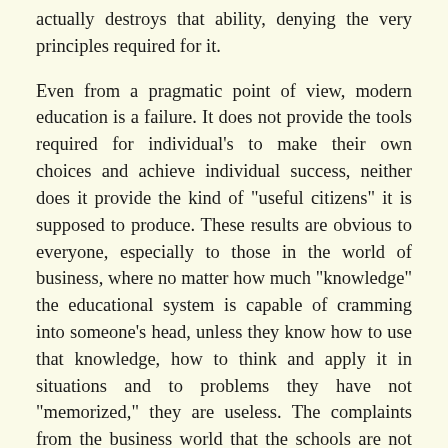actually destroys that ability, denying the very principles required for it.
Even from a pragmatic point of view, modern education is a failure. It does not provide the tools required for individual's to make their own choices and achieve individual success, neither does it provide the kind of "useful citizens" it is supposed to produce. These results are obvious to everyone, especially to those in the world of business, where no matter how much "knowledge" the educational system is capable of cramming into someone's head, unless they know how to use that knowledge, how to think and apply it in situations and to problems they have not "memorized," they are useless. The complaints from the business world that the schools are not providing people who can think has been very loud—and someone has been listening.
A Cure Worse Than the Malady
Unfortunately, the one's who have been listening and have arrived at a "solution" are the very same one's who ruined education in the first place—the academics. The